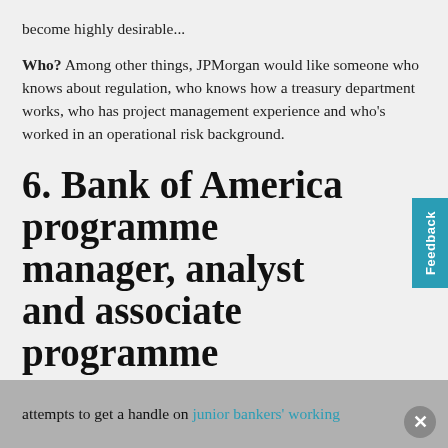become highly desirable...
Who? Among other things, JPMorgan would like someone who knows about regulation, who knows how a treasury department works, who has project management experience and who's worked in an operational risk background.
6. Bank of America programme manager, analyst and associate programme
What? Bank of America wants someone to come in and manage its entire Europe, Middle East and Africa (EMEA) analyst and associate programme, with responsibility for the 'overall junior banker experience'.
Why this? This role looks interesting in light of banks' attempts to get a handle on junior bankers' working